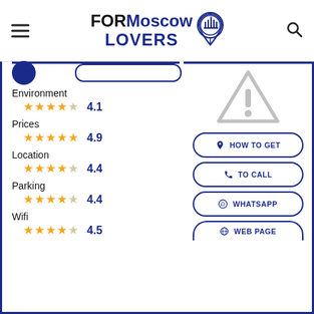[Figure (logo): FORMoscow LOVERS logo with location pin icon]
Environment 4.1 (4 stars out of 5)
Prices 4.9 (5 stars out of 5)
Location 4.4 (4.5 stars out of 5)
Parking 4.4 (4.5 stars out of 5)
Wifi 4.5 (4.5 stars out of 5)
[Figure (illustration): Warning triangle with exclamation mark icon, grey color]
HOW TO GET
TO CALL
WHATSAPP
WEB PAGE